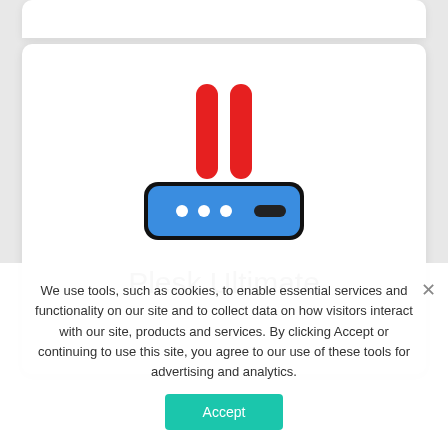[Figure (illustration): Router/server device icon with two red vertical antenna bars above a blue rounded rectangle with white dots and a dark slot, representing a Plesk server product.]
Plesk Ultimate
We use tools, such as cookies, to enable essential services and functionality on our site and to collect data on how visitors interact with our site, products and services. By clicking Accept or continuing to use this site, you agree to our use of these tools for advertising and analytics.